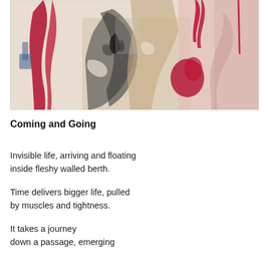[Figure (illustration): Abstract painting with bold gestural strokes in crimson red, dark grey/black, cream/beige, and hints of blue. Layered impasto textures with drips and smears across the full horizontal width.]
Coming and Going
Invisible life, arriving and floating
inside fleshy walled berth.
Time delivers bigger life, pulled
by muscles and tightness.
It takes a journey
down a passage, emerging